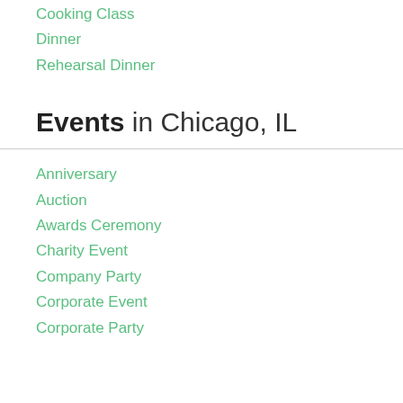Cooking Class
Dinner
Rehearsal Dinner
Events in Chicago, IL
Anniversary
Auction
Awards Ceremony
Charity Event
Company Party
Corporate Event
Corporate Party